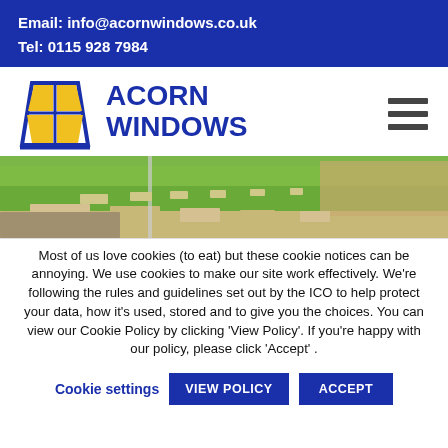Email: info@acornwindows.co.uk
Tel: 0115 928 7984
[Figure (logo): Acorn Windows logo with stylized window icon in blue and yellow, large blue text 'ACORN WINDOWS', and a hamburger menu icon on the right]
[Figure (photo): Outdoor garden/patio area with green grass, stepping stones, paving slabs and gravel border]
Most of us love cookies (to eat) but these cookie notices can be annoying. We use cookies to make our site work effectively. We're following the rules and guidelines set out by the ICO to help protect your data, how it's used, stored and to give you the choices. You can view our Cookie Policy by clicking 'View Policy'. If you're happy with our policy, please click 'Accept' .
Cookie settings | VIEW POLICY | ACCEPT